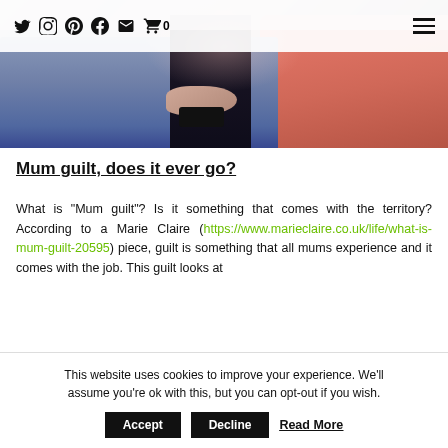Social media navigation icons (Twitter, Instagram, Pinterest, Facebook, Email, Cart 0) and hamburger menu
[Figure (photo): Photo showing two people sitting, one wearing jeans and holding a phone, another wearing a pink top, with dark clothing in background]
Mum guilt, does it ever go?
What is “Mum guilt”? Is it something that comes with the territory? According to a Marie Claire (https://www.marieclaire.co.uk/life/what-is-mum-guilt-20595) piece, guilt is something that all mums experience and it comes with the job. This guilt looks at
This website uses cookies to improve your experience. We’ll assume you’re ok with this, but you can opt-out if you wish.
Accept   Decline   Read More